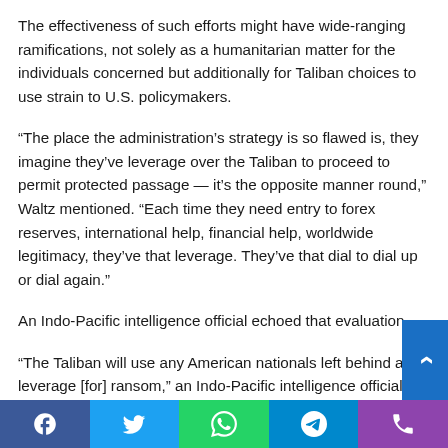The effectiveness of such efforts might have wide-ranging ramifications, not solely as a humanitarian matter for the individuals concerned but additionally for Taliban choices to use strain to U.S. policymakers.
“The place the administration’s strategy is so flawed is, they imagine they’ve leverage over the Taliban to proceed to permit protected passage — it’s the opposite manner round,” Waltz mentioned. “Each time they need entry to forex reserves, international help, financial help, worldwide legitimacy, they’ve that leverage. They’ve that dial to dial up or dial again.”
An Indo-Pacific intelligence official echoed that evaluation.
“The Taliban will use any American nationals left behind as leverage [for] ransom,” an Indo-Pacific intelligence official